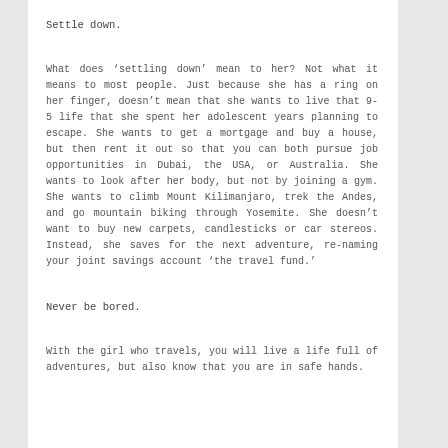Settle down.
What does ‘settling down’ mean to her? Not what it means to most people. Just because she has a ring on her finger, doesn’t mean that she wants to live that 9-5 life that she spent her adolescent years planning to escape. She wants to get a mortgage and buy a house, but then rent it out so that you can both pursue job opportunities in Dubai, the USA, or Australia. She wants to look after her body, but not by joining a gym. She wants to climb Mount Kilimanjaro, trek the Andes, and go mountain biking through Yosemite. She doesn’t want to buy new carpets, candlesticks or car stereos. Instead, she saves for the next adventure, re-naming your joint savings account ‘the travel fund.’
Never be bored.
With the girl who travels, you will live a life full of adventures, but also know that you are in safe hands.